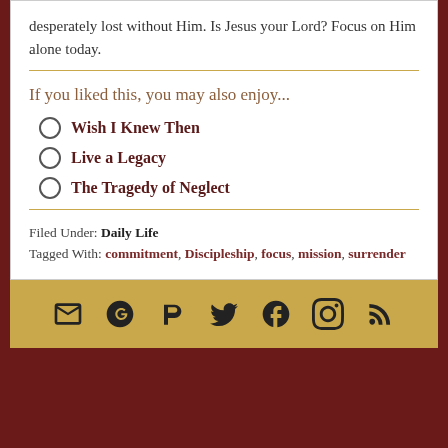desperately lost without Him. Is Jesus your Lord? Focus on Him alone today.
If you liked this, you may also enjoy...
Wish I Knew Then
Live a Legacy
The Tragedy of Neglect
Filed Under: Daily Life
Tagged With: commitment, Discipleship, focus, mission, surrender
[Figure (other): Social media icons row: email, Goodreads, Parler, Twitter, Facebook, Instagram, RSS feed]